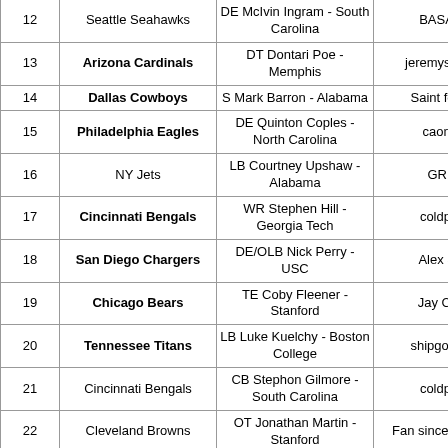| # | Team | Pick | User |
| --- | --- | --- | --- |
| 12 | Seattle Seahawks | DE McIvin Ingram - South Carolina | BASAINT |
| 13 | Arizona Cardinals | DT Dontari Poe - Memphis | jeremysherwin |
| 14 | Dallas Cowboys | S Mark Barron - Alabama | Saint for Life |
| 15 | Philadelphia Eagles | DE Quinton Coples - North Carolina | caominh |
| 16 | NY Jets | LB Courtney Upshaw - Alabama | GRIZZ |
| 17 | Cincinnati Bengals | WR Stephen Hill - Georgia Tech | coldpizza |
| 18 | San Diego Chargers | DE/OLB Nick Perry - USC | Alex Swift |
| 19 | Chicago Bears | TE Coby Fleener - Stanford | Jay Cutler |
| 20 | Tennessee Titans | LB Luke Kuelchy - Boston College | shipgoalie05 |
| 21 | Cincinnati Bengals | CB Stephon Gilmore - South Carolina | coldpizza |
| 22 | Cleveland Browns | OT Jonathan Martin - Stanford | Fan since the Aints |
| 23 | Detroit Lions | CB Dre Kirkpatrick - | AcquiredPanic |